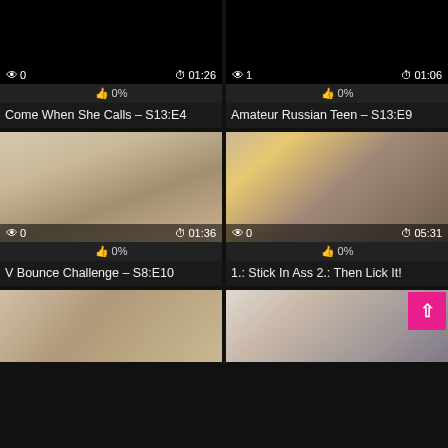[Figure (screenshot): Video thumbnail grid showing adult video website with 6 video cards in 2-column layout]
Come When She Calls – S13:E4
Amateur Russian Teen – S13:E9
V Bounce Challenge – S8:E10
1.: Stick In Ass 2.: Then Lick It!
[Figure (photo): Bottom row video thumbnails partially visible]
[Figure (photo): Back to top pink button overlay]